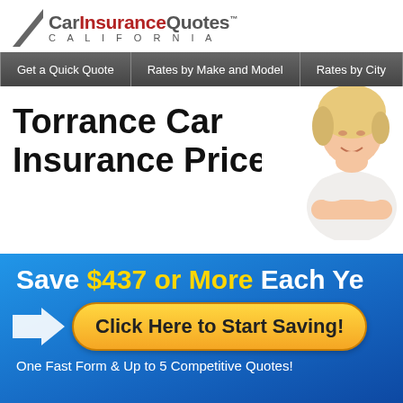[Figure (logo): CarInsuranceQuotes California logo with grey triangle and red/grey wordmark]
Get a Quick Quote | Rates by Make and Model | Rates by City
Torrance Car Insurance Prices
[Figure (photo): Smiling blonde woman leaning on her arms, upper body visible]
[Figure (infographic): Blue banner: Save $437 or More Each Year. Click Here to Start Saving! One Fast Form & Up to 5 Competitive Quotes!]